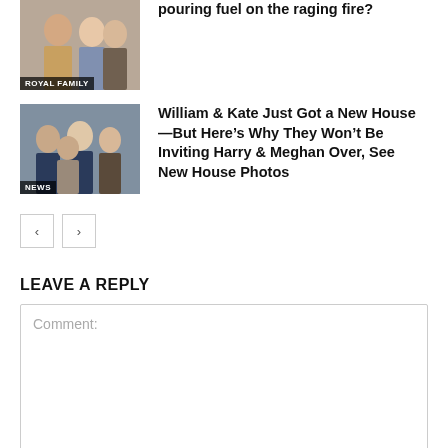[Figure (photo): Photo of royal family members with ROYAL FAMILY label]
pouring fuel on the raging fire?
[Figure (photo): Photo of Harry, Meghan, William and Kate with NEWS label]
William & Kate Just Got a New House—But Here’s Why They Won’t Be Inviting Harry & Meghan Over, See New House Photos
< >
LEAVE A REPLY
Comment: